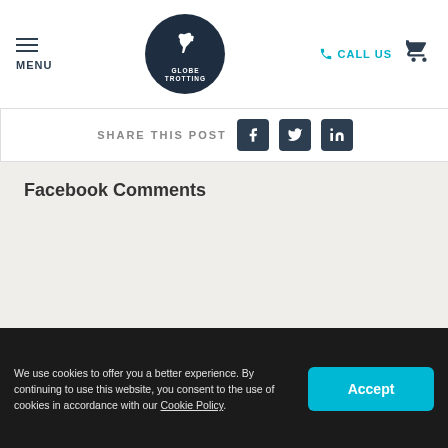MENU | GLOBE TROTTING | CALL US | Cart
SHARE THIS POST
Facebook Comments
We use cookies to offer you a better experience. By continuing to use this website, you consent to the use of cookies in accordance with our Cookie Policy.